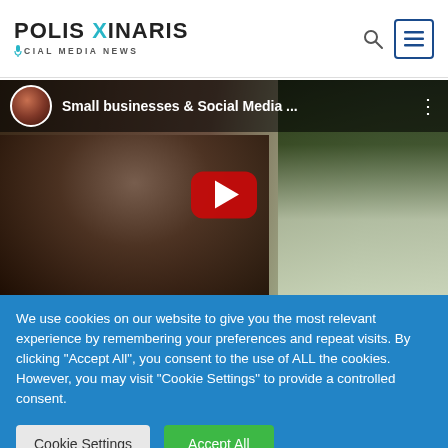POLIS XINARIS — SOCIAL MEDIA NEWS
[Figure (screenshot): YouTube video thumbnail showing 'Small businesses & Social Media ...' with a bearded man outdoors among trees, with a red YouTube play button overlay and channel avatar in the top bar.]
We use cookies on our website to give you the most relevant experience by remembering your preferences and repeat visits. By clicking "Accept All", you consent to the use of ALL the cookies. However, you may visit "Cookie Settings" to provide a controlled consent.
Cookie Settings   Accept All